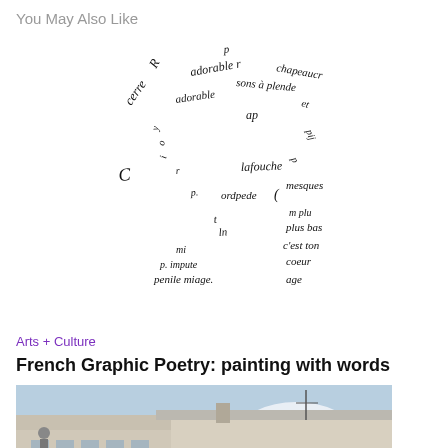You May Also Like
[Figure (illustration): Handwritten French calligram/concrete poetry with words arranged in the shape of a figure or abstract form. Words visible include fragments like 'Ce adorable', 'joie', 'ap', 'lafouche', 'pape de', 'mesque', 'plus bas', 'c'est ton', 'coeur', 'mi', 'p. impute', 'pende miage']
Arts + Culture
French Graphic Poetry: painting with words
[Figure (photo): Photograph of a building exterior with a rooftop, antenna/mast, and cloudy blue sky. A figure or statue appears to be on the left side of the building.]